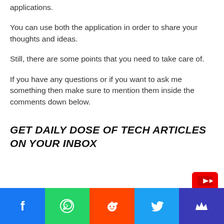applications.
You can use both the application in order to share your thoughts and ideas.
Still, there are some points that you need to take care of.
If you have any questions or if you want to ask me something then make sure to mention them inside the comments down below.
GET DAILY DOSE OF TECH ARTICLES ON YOUR INBOX